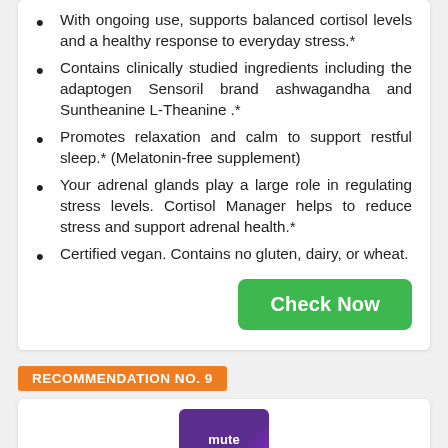With ongoing use, supports balanced cortisol levels and a healthy response to everyday stress.*
Contains clinically studied ingredients including the adaptogen Sensoril brand ashwagandha and Suntheanine L-Theanine .*
Promotes relaxation and calm to support restful sleep.* (Melatonin-free supplement)
Your adrenal glands play a large role in regulating stress levels. Cortisol Manager helps to reduce stress and support adrenal health.*
Certified vegan. Contains no gluten, dairy, or wheat.
Check Now
RECOMMENDATION NO. 9
[Figure (photo): Product box image for a supplement called 'mute' with purple packaging, partially visible at the bottom of the page.]